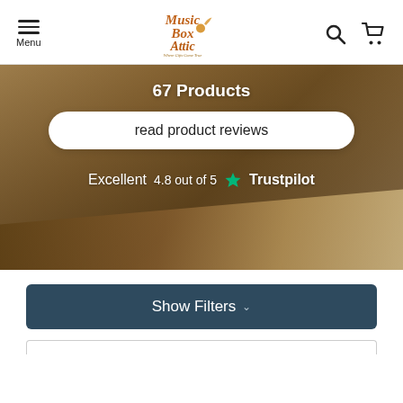Menu | Music Box Attic — Where Gifts Come True | Search | Cart
67 Products
read product reviews
Excellent   4.8 out of 5  ★  Trustpilot
Show Filters ˅